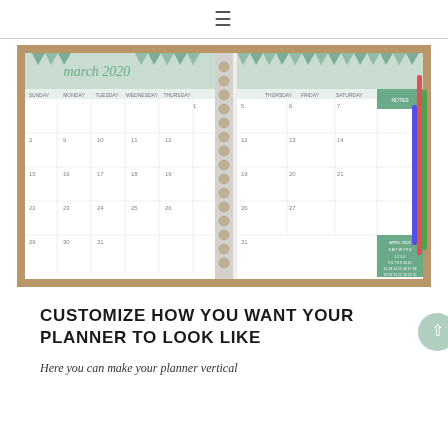≡
[Figure (photo): Open spiral-bound planner showing March 2020 monthly calendar spread with green geometric triangle header design, lying on a wooden surface with colorful pens visible on the right side.]
CUSTOMIZE HOW YOU WANT YOUR PLANNER TO LOOK LIKE
Here you can make your planner vertical